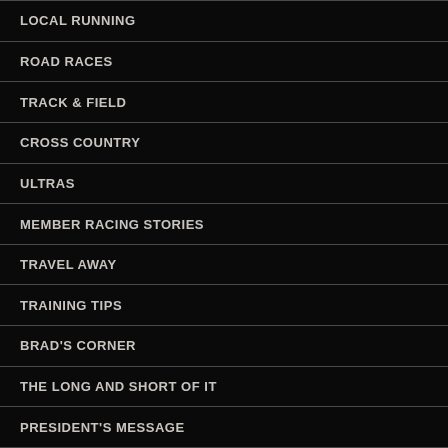LOCAL RUNNING
ROAD RACES
TRACK & FIELD
CROSS COUNTRY
ULTRAS
MEMBER RACING STORIES
TRAVEL AWAY
TRAINING TIPS
BRAD'S CORNER
THE LONG AND SHORT OF IT
PRESIDENT'S MESSAGE